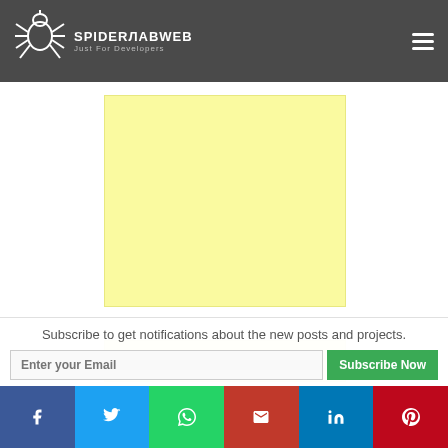SPIDERLABWEB — Just For Developers
[Figure (other): Yellow advertisement banner placeholder (large)]
[Figure (other): Yellow advertisement banner placeholder (small strip)]
Subscribe to get notifications about the new posts and projects.
Enter your Email
Subscribe Now